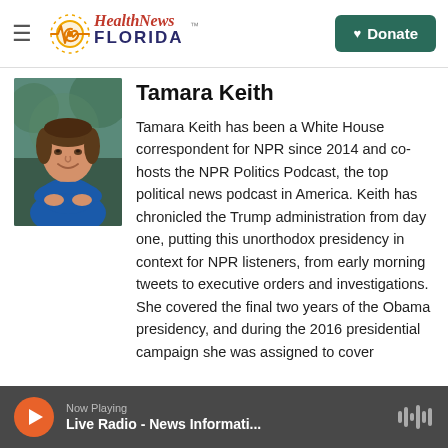Health News Florida — Donate
[Figure (photo): Portrait photo of Tamara Keith, a woman in a blue top, smiling, with blurred outdoor background]
Tamara Keith
Tamara Keith has been a White House correspondent for NPR since 2014 and co-hosts the NPR Politics Podcast, the top political news podcast in America. Keith has chronicled the Trump administration from day one, putting this unorthodox presidency in context for NPR listeners, from early morning tweets to executive orders and investigations. She covered the final two years of the Obama presidency, and during the 2016 presidential campaign she was assigned to cover
Now Playing — Live Radio - News Informati...